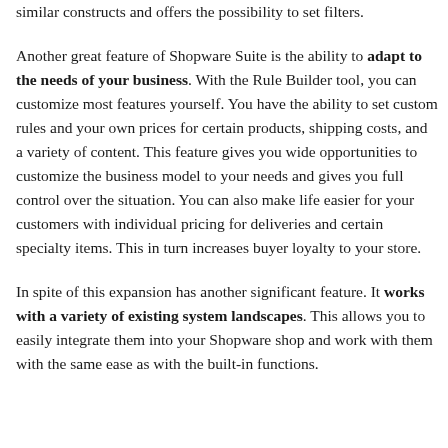similar constructs and offers the possibility to set filters.
Another great feature of Shopware Suite is the ability to adapt to the needs of your business. With the Rule Builder tool, you can customize most features yourself. You have the ability to set custom rules and your own prices for certain products, shipping costs, and a variety of content. This feature gives you wide opportunities to customize the business model to your needs and gives you full control over the situation. You can also make life easier for your customers with individual pricing for deliveries and certain specialty items. This in turn increases buyer loyalty to your store.
In spite of this expansion has another significant feature. It works with a variety of existing system landscapes. This allows you to easily integrate them into your Shopware shop and work with them with the same ease as with the built-in functions.